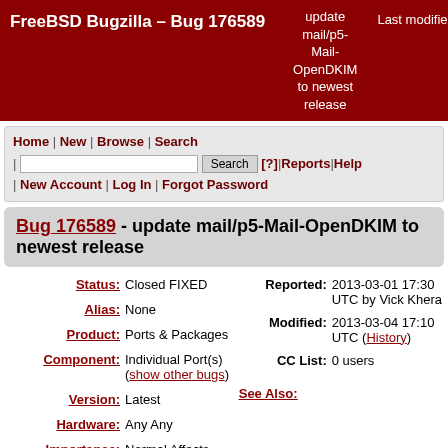FreeBSD Bugzilla – Bug 176589 | update mail/p5-Mail-OpenDKIM to newest release | Last modified: 2013-03-04 17
Home | New | Browse | Search | [search box] Search [?] | Reports | Help | New Account | Log In | Forgot Password
Bug 176589 - update mail/p5-Mail-OpenDKIM to newest release
Status: Closed FIXED
Reported: 2013-03-01 17:30 UTC by Vick Khera
Alias: None
Modified: 2013-03-04 17:10 UTC (History)
Product: Ports & Packages
CC List: 0 users
Component: Individual Port(s) (show other bugs)
See Also:
Version: Latest
Hardware: Any Any
Importance: Normal Affects Only Me